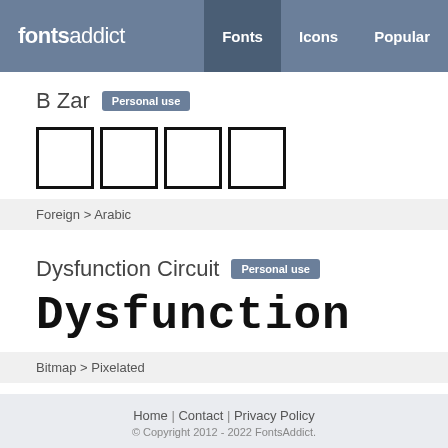fontsaddict — Fonts | Icons | Popular
B Zar — Personal use
[Figure (other): B Zar font preview showing Arabic characters as empty boxes]
Foreign > Arabic
Dysfunction Circuit — Personal use
[Figure (other): Dysfunction Circuit font preview showing pixelated text 'Dysfunction']
Bitmap > Pixelated
Home | Contact | Privacy Policy
© Copyright 2012 - 2022 FontsAddict.